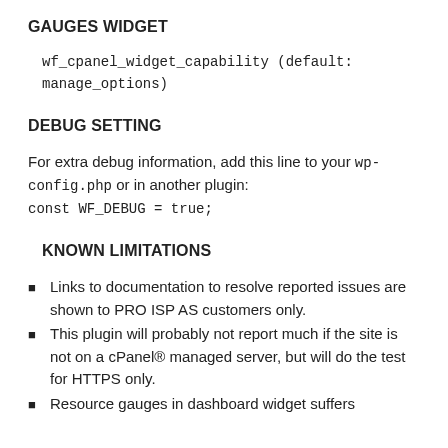GAUGES WIDGET
wf_cpanel_widget_capability (default: manage_options)
DEBUG SETTING
For extra debug information, add this line to your wp-config.php or in another plugin:
const WF_DEBUG = true;
KNOWN LIMITATIONS
Links to documentation to resolve reported issues are shown to PRO ISP AS customers only.
This plugin will probably not report much if the site is not on a cPanel® managed server, but will do the test for HTTPS only.
Resource gauges in dashboard widget suffers